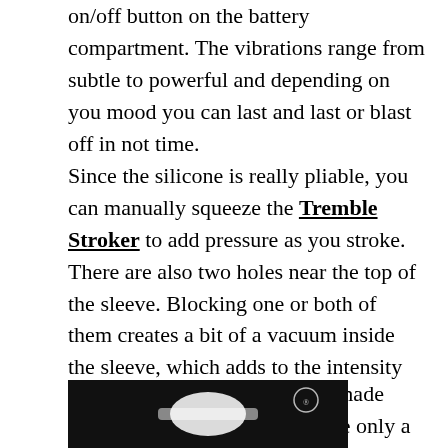on/off button on the battery compartment. The vibrations range from subtle to powerful and depending on you mood you can last and last or blast off in not time.
Since the silicone is really pliable, you can manually squeeze the Tremble Stroker to add pressure as you stroke. There are also two holes near the top of the sleeve. Blocking one or both of them creates a bit of a vacuum inside the sleeve, which adds to the intensity of your session.
Since the Tremble Stroker is made from silicone, you'll want to use only a water-based lube when you stroke. By the way, there's a small complimentary packet of Astroglide included in the package.
[Figure (photo): Bottom portion of a product image on a black background, partially visible at bottom of page.]